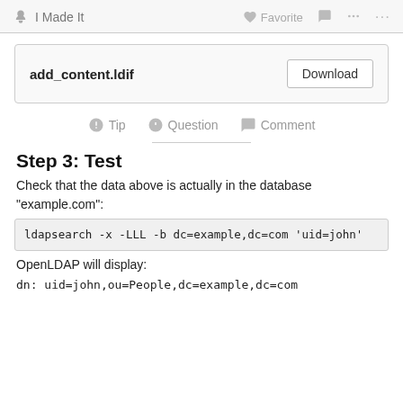✋ I Made It   ♥ Favorite   💬   ≪   ...
[Figure (other): File download box showing add_content.ldif with a Download button]
Tip   Question   Comment
Step 3: Test
Check that the data above is actually in the database "example.com":
ldapsearch -x -LLL -b dc=example,dc=com 'uid=john'
OpenLDAP will display:
dn: uid=john,ou=People,dc=example,dc=com